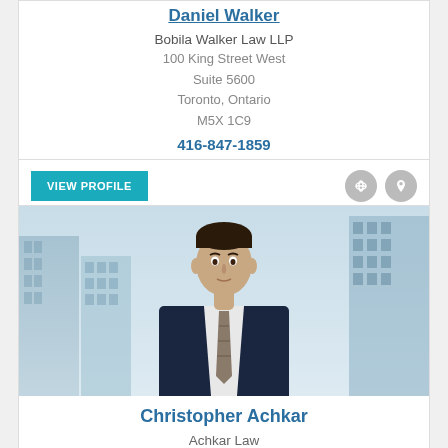Daniel Walker
Bobila Walker Law LLP
100 King Street West
Suite 5600
Toronto, Ontario
M5X 1C9
416-847-1859
[Figure (photo): View Profile button with link and location icons]
[Figure (photo): Professional headshot of Christopher Achkar, a man in a dark suit with a patterned tie, standing in front of a blurred city building background]
Christopher Achkar
Achkar Law
4950 Yonge St.
Suite 2200